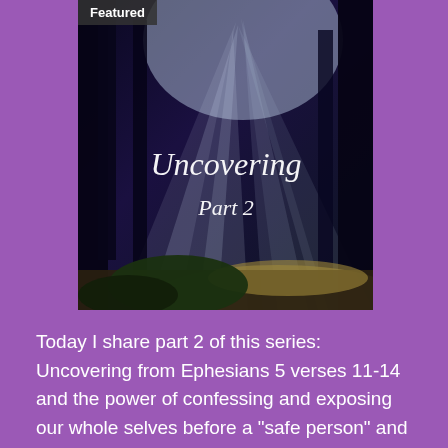[Figure (photo): Forest scene with dramatic sunbeams shining through dark trees onto a path, with text overlay reading 'Uncovering Part 2' in white script font]
Today I share part 2 of this series: Uncovering from Ephesians 5 verses 11-14 and the power of confessing and exposing our whole selves before a "safe person" and God, above all.
https://youtu.be/Wr_eQWspHFo I would love to connect with you via Instagram